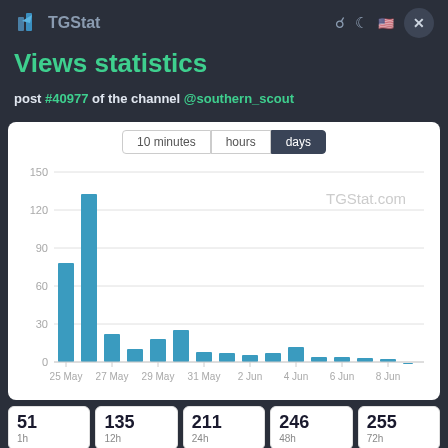Views statistics
post #40977 of the channel @southern_scout
[Figure (bar-chart): TGStat.com]
| 51
1h | 135
12h | 211
24h | 246
48h | 255
72h |
| --- | --- | --- | --- | --- |